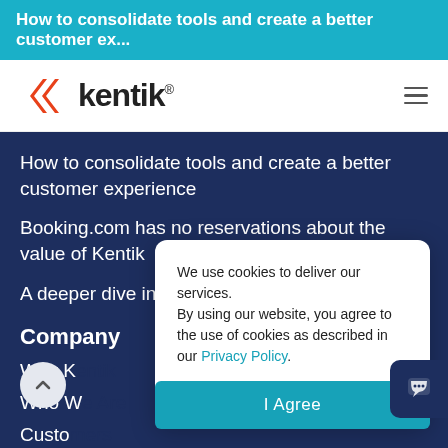How to consolidate tools and create a better customer ex...
[Figure (logo): Kentik logo with orange double-chevron and bold black text 'kentik.' with registered trademark symbol]
How to consolidate tools and create a better customer experience
Booking.com has no reservations about the value of Kentik
A deeper dive into the Rogers outage
Company
Why K...
Who W...
Custo...
Careers
We use cookies to deliver our services.
By using our website, you agree to the use of cookies as described in our Privacy Policy.